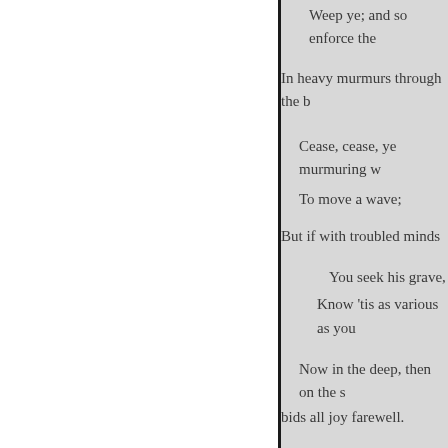Weep ye; and so enforce the
In heavy murmurs through the b
Cease, cease, ye murmuring w
To move a wave;
But if with troubled minds
You seek his grave,
Know 'tis as various as you
Now in the deep, then on the s
bids all joy farewell.
So rare a sown,
A thousand dolphins would ha
by sickness fell, Since when his